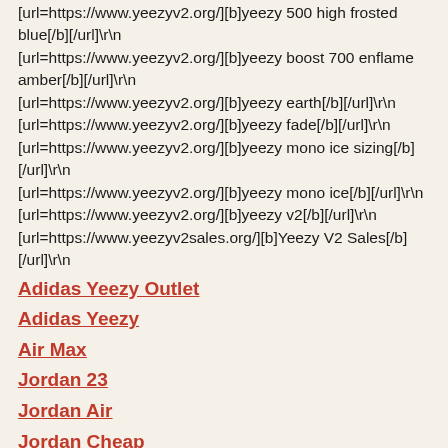[url=https://www.yeezyv2.org/][b]yeezy 500 high frosted blue[/b][/url]\r\n[url=https://www.yeezyv2.org/][b]yeezy boost 700 enflame amber[/b][/url]\r\n[url=https://www.yeezyv2.org/][b]yeezy earth[/b][/url]\r\n[url=https://www.yeezyv2.org/][b]yeezy fade[/b][/url]\r\n[url=https://www.yeezyv2.org/][b]yeezy mono ice sizing[/b][/url]\r\n[url=https://www.yeezyv2.org/][b]yeezy mono ice[/b][/url]\r\n[url=https://www.yeezyv2.org/][b]yeezy v2[/b][/url]\r\n[url=https://www.yeezyv2sales.org/][b]Yeezy V2 Sales[/b][/url]\r\n
Adidas Yeezy Outlet
Adidas Yeezy
Air Max
Jordan 23
Jordan Air
Jordan Cheap